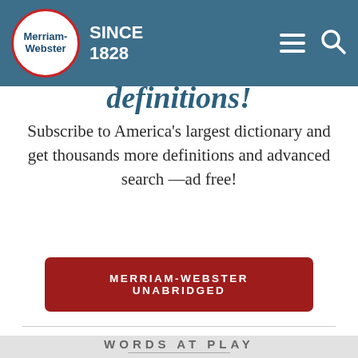Merriam-Webster SINCE 1828
definitions!
Subscribe to America's largest dictionary and get thousands more definitions and advanced search —ad free!
MERRIAM-WEBSTER UNABRIDGED
WORDS AT PLAY
[Figure (photo): Colorful butterfly-eared cat on a light blue background, partially visible]